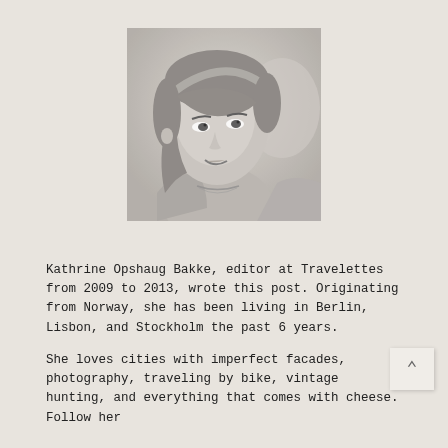[Figure (photo): Black and white portrait photo of a young woman with bangs and a headband, smiling slightly, wearing a necklace, with blurred background.]
Kathrine Opshaug Bakke, editor at Travelettes from 2009 to 2013, wrote this post. Originating from Norway, she has been living in Berlin, Lisbon, and Stockholm the past 6 years.
She loves cities with imperfect facades, photography, traveling by bike, vintage hunting, and everything that comes with cheese. Follow her